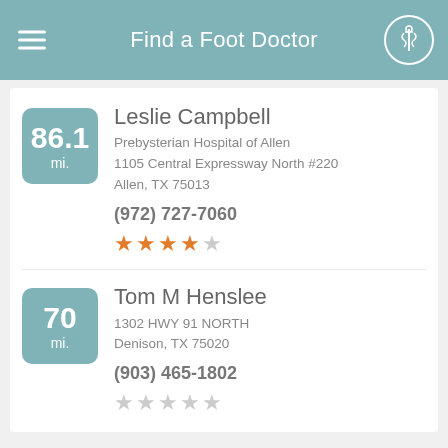Find a Foot Doctor
86.1 mi. | Leslie Campbell | Prebysterian Hospital of Allen | 1105 Central Expressway North #220 | Allen, TX 75013 | (972) 727-7060 | 4 stars
70 mi. | Tom M Henslee | 1302 HWY 91 NORTH | Denison, TX 75020 | (903) 465-1802 | 0 stars